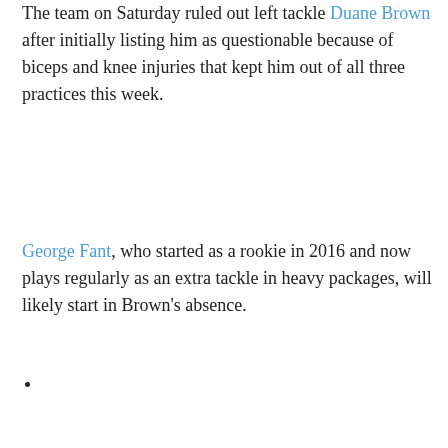The team on Saturday ruled out left tackle Duane Brown after initially listing him as questionable because of biceps and knee injuries that kept him out of all three practices this week.
George Fant, who started as a rookie in 2016 and now plays regularly as an extra tackle in heavy packages, will likely start in Brown's absence.